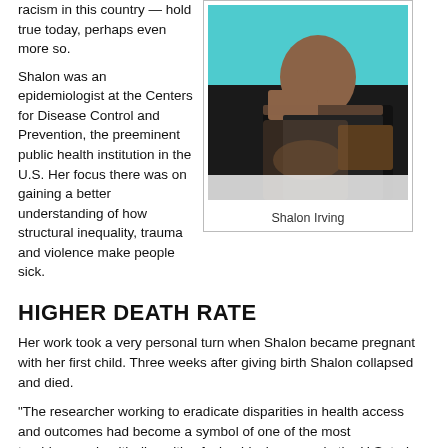racism in this country — hold true today, perhaps even more so.
Shalon was an epidemiologist at the Centers for Disease Control and Prevention, the preeminent public health institution in the U.S. Her focus there was on gaining a better understanding of how structural inequality, trauma and violence make people sick.
[Figure (photo): Photograph of Shalon Irving, a Black woman wearing a black dress, seated and visibly pregnant]
Shalon Irving
HIGHER DEATH RATE
Her work took a very personal turn when Shalon became pregnant with her first child. Three weeks after giving birth Shalon collapsed and died.
“The researcher working to eradicate disparities in health access and outcomes had become a symbol of one of the most troublesome health disparities facing black women in the U.S. today, disproportionately high rates of maternal mortality,” wrote the reporting team behind this story. (emphasis mine)
According to the CDC, black mothers in the U.S. die at three to four times